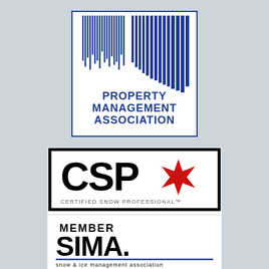[Figure (logo): Property Management Association logo with vertical blue bar stripes and blue text reading PROPERTY MANAGEMENT ASSOCIATION inside a blue rectangle border]
[Figure (logo): CSPX Certified Snow Professional logo with bold black letters CSP and a red snowflake-star X symbol, subtitle CERTIFIED SNOW PROFESSIONAL TM, inside a black border rectangle on white background]
[Figure (logo): SIMA Member logo with bold black text MEMBER SIMA. and subtitle snow & ice management association on white background with a blue horizontal line]